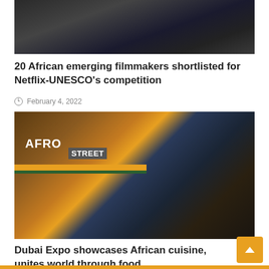[Figure (photo): Partial top image showing a dark scene, appears to be a cinema or event screen with crowd, cropped at top]
20 African emerging filmmakers shortlisted for Netflix-UNESCO's competition
February 4, 2022
[Figure (photo): Photo of Afro Street food court at Dubai Expo, showing African-themed food stalls with AFRO STREET signage, warm wooden decor with yellow and green stripes, people walking around]
Dubai Expo showcases African cuisine, unites world through food